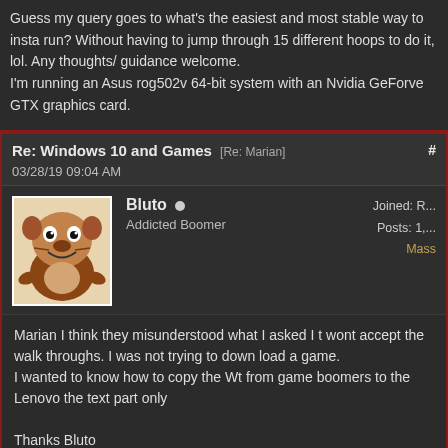Guess my query goes to what's the easiest and most stable way to install and run? Without having to jump through 15 different hoops to do it, lol. Any thoughts/ guidance welcome.
I'm running an Asus rog502v 64-bit system with an Nvidia GeForve GTX graphics card.
Re: Windows 10 and Games [Re: Marian] #
03/28/19 09:04 AM
Bluto • Addicted Boomer
Joined: R...
Posts: 1,...
Mass
Marian I think they misunderstood what I asked I t wont accept the walk throughs. I was not trying to down load a game.
I wanted to know how to copy the Wt from game boomers to the Lenovo the text part only

Thanks Bluto
Re: Windows 10 and Games [Re: Draclvr] #
04/07/20 11:17 AM